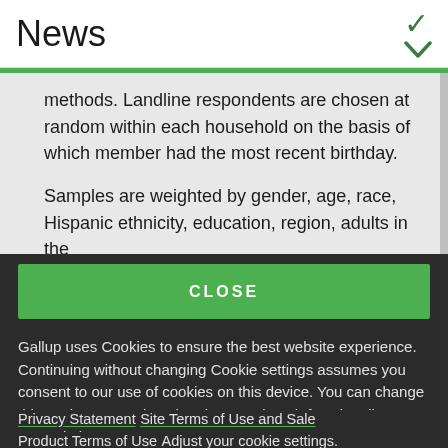News
methods. Landline respondents are chosen at random within each household on the basis of which member had the most recent birthday.

Samples are weighted by gender, age, race, Hispanic ethnicity, education, region, adults in the
CLOSE
Gallup uses Cookies to ensure the best website experience. Continuing without changing Cookie settings assumes you consent to our use of cookies on this device. You can change this setting at any time, but that may impair functionality on our websites.
Privacy Statement   Site Terms of Use and Sale

Product Terms of Use   Adjust your cookie settings.